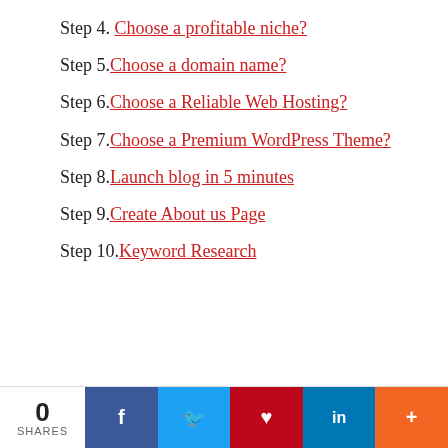Step 4. Choose a profitable niche?
Step 5. Choose a domain name?
Step 6. Choose a Reliable Web Hosting?
Step 7. Choose a Premium WordPress Theme?
Step 8. Launch blog in 5 minutes
Step 9. Create About us Page
Step 10. Keyword Research
0 SHARES | Facebook | Twitter | Pinterest | LinkedIn | More